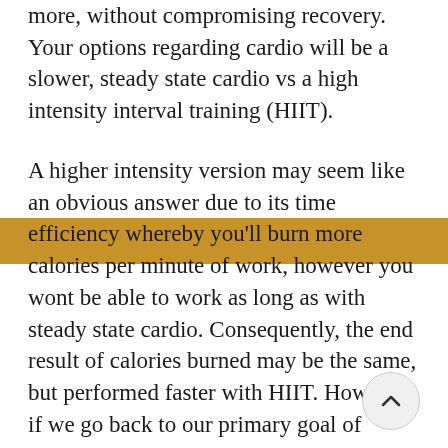more, without compromising recovery. Your options regarding cardio will be a slower, steady state cardio vs a high intensity interval training (HIIT).
A higher intensity version may seem like an obvious answer due to its time efficiency whereby you'll burn more calories per minute of work, however you wont be able to work as long as with steady state cardio. Consequently, the end result of calories burned may be the same, but performed faster with HIIT. However, if we go back to our primary goal of training, which is to preserve muscle mass, then we must consider the effect of cardio. HIIT will be somewhat more similar to resistance training with regards to the stress and intensity on the body than from a steady state effort.